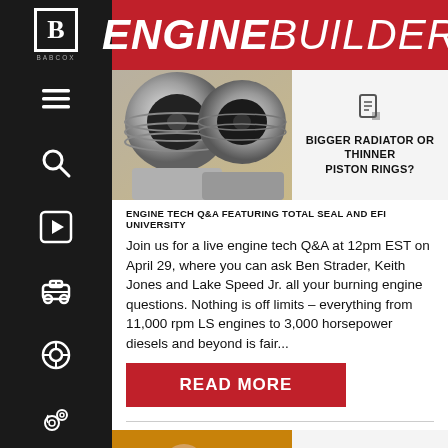ENGINE BUILDER
[Figure (screenshot): Mobile app screenshot showing EngineBuilder website with navigation sidebar on left and article content on right]
BIGGER RADIATOR OR THINNER PISTON RINGS?
ENGINE TECH Q&A FEATURING TOTAL SEAL AND EFI UNIVERSITY
Join us for a live engine tech Q&A at 12pm EST on April 29, where you can ask Ben Strader, Keith Jones and Lake Speed Jr. all your burning engine questions. Nothing is off limits – everything from 11,000 rpm LS engines to 3,000 horsepower diesels and beyond is fair...
READ MORE
SIT DOWN WITH LAKE SPEED JR. OF TOTAL SEAL PISTON...